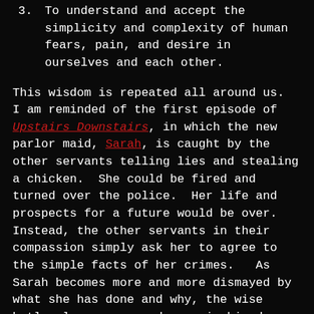3. To understand and accept the simplicity and complexity of human fears, pain, and desire in ourselves and each other.
This wisdom is repeated all around us. I am reminded of the first episode of Upstairs Downstairs, in which the new parlor maid, Sarah, is caught by the other servants telling lies and stealing a chicken. She could be fired and turned over the police. Her life and prospects for a future would be over. Instead, the other servants in their compassion simply ask her to agree to the simple facts of her crimes. As Sarah becomes more and more dismayed by what she has done and why, the wise butler leans over and says in his deep, gentle voice, “You’re human, that’s all.”
(truncated/partial text at bottom)